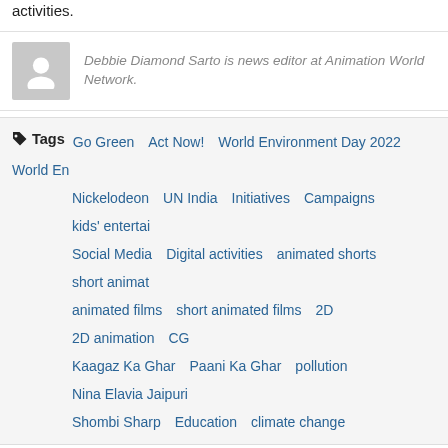activities.
Debbie Diamond Sarto is news editor at Animation World Network.
Tags  Go Green  Act Now!  World Environment Day 2022  World En...  Nickelodeon  UN India  Initiatives  Campaigns  kids' entertai...  Social Media  Digital activities  animated shorts  short animat...  animated films  short animated films  2D  2D animation  CG...  Kaagaz Ka Ghar  Paani Ka Ghar  pollution  Nina Elavia Jaipuri...  Shombi Sharp  Education  climate change
More From News:
Next Post: Crunchyroll Dishes Details on Anime Expo 2022
Previous Post: Netflix Drops 'Farzar' T...
Related Content